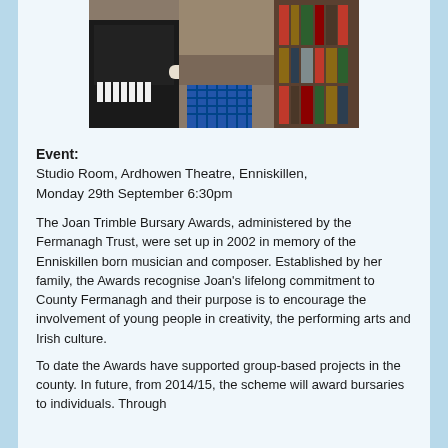[Figure (photo): A person in a white sweater and plaid skirt sitting at or near a piano, with bookshelves visible in the background]
Event: Studio Room, Ardhowen Theatre, Enniskillen, Monday 29th September 6:30pm
The Joan Trimble Bursary Awards, administered by the Fermanagh Trust, were set up in 2002 in memory of the Enniskillen born musician and composer. Established by her family, the Awards recognise Joan's lifelong commitment to County Fermanagh and their purpose is to encourage the involvement of young people in creativity, the performing arts and Irish culture.
To date the Awards have supported group-based projects in the county. In future, from 2014/15, the scheme will award bursaries to individuals. Through